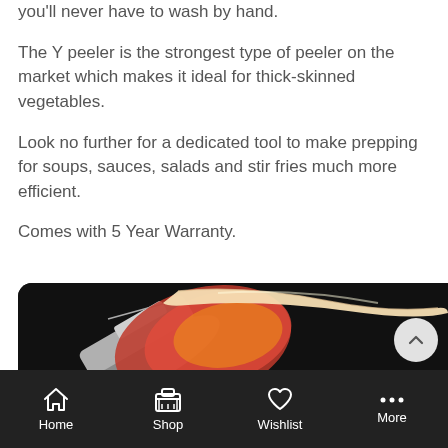you'll never have to wash by hand.
The Y peeler is the strongest type of peeler on the market which makes it ideal for thick-skinned vegetables.
Look no further for a dedicated tool to make prepping for soups, sauces, salads and stir fries much more efficient.
Comes with 5 Year Warranty.
[Figure (photo): Close-up photo of a Y peeler peeling a red/yellow vegetable (likely a tomato or pepper) against a dark background, showing a long curl of skin being peeled away.]
Home  Shop  Wishlist  More